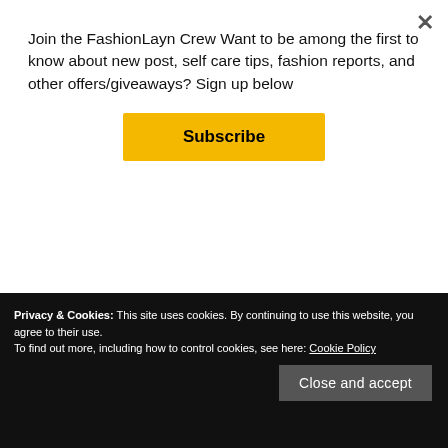Join the FashionLayn Crew Want to be among the first to know about new post, self care tips, fashion reports, and other offers/giveaways? Sign up below
Subscribe
Nordstrom
Shein
Sephora
Privacy & Cookies: This site uses cookies. By continuing to use this website, you agree to their use.
To find out more, including how to control cookies, see here: Cookie Policy
Close and accept
Old Soul Vintage